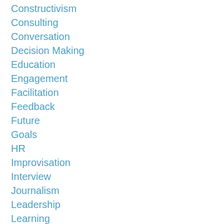Constructivism
Consulting
Conversation
Decision Making
Education
Engagement
Facilitation
Feedback
Future
Goals
HR
Improvisation
Interview
Journalism
Leadership
Learning
Management
Marketing
Meetings
Mistakes
Monday